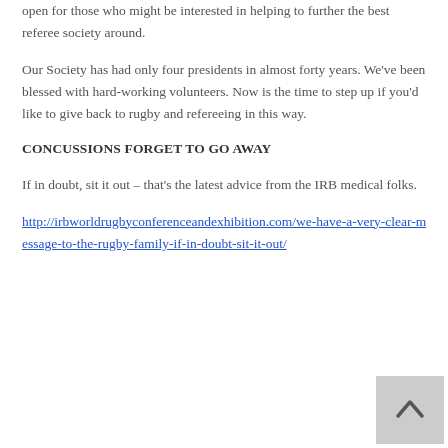open for those who might be interested in helping to further the best referee society around.
Our Society has had only four presidents in almost forty years. We've been blessed with hard-working volunteers. Now is the time to step up if you'd like to give back to rugby and refereeing in this way.
CONCUSSIONS FORGET TO GO AWAY
If in doubt, sit it out – that's the latest advice from the IRB medical folks.
http://irbworldrugbyconferenceandexhibition.com/we-have-a-very-clear-message-to-the-rugby-family-if-in-doubt-sit-it-out/